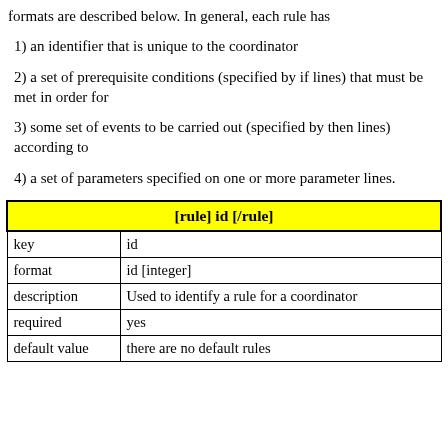formats are described below. In general, each rule has
1) an identifier that is unique to the coordinator
2) a set of prerequisite conditions (specified by if lines) that must be met in order for
3) some set of events to be carried out (specified by then lines) according to
4) a set of parameters specified on one or more parameter lines.
| [rule] id [/rule] |
| --- |
| key | id |
| format | id [integer] |
| description | Used to identify a rule for a coordinator |
| required | yes |
| default value | there are no default rules |